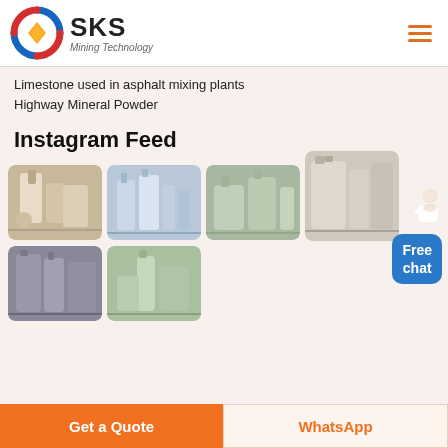SKS Mining Technology
Limestone used in asphalt mixing plants
Highway Mineral Powder
Instagram Feed
[Figure (photo): Six industrial mining/powder processing facility photos arranged in a grid]
Get a Quote
WhatsApp